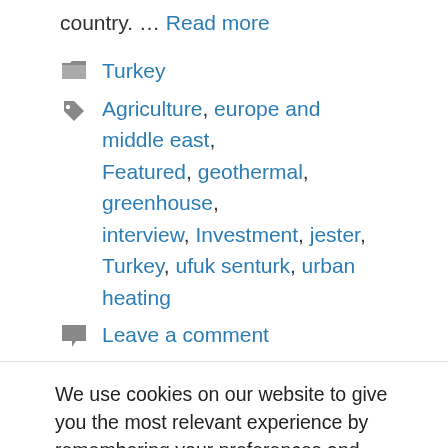country. … Read more
Turkey
Agriculture, europe and middle east, Featured, geothermal, greenhouse, interview, Investment, jester, Turkey, ufuk senturk, urban heating
Leave a comment
We use cookies on our website to give you the most relevant experience by remembering your preferences and repeat visits. By clicking "Accept All", you consent to the use of ALL the cookies. However, you may visit "Cookie Settings" to provide a controlled consent.